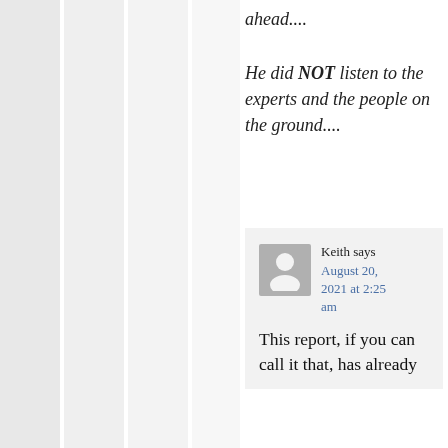ahead....
He did NOT listen to the experts and the people on the ground....
Keith says
August 20, 2021 at 2:25 am
This report, if you can call it that, has already